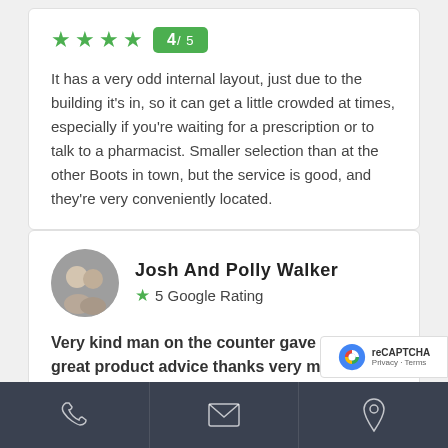[Figure (infographic): 4 green stars rating with green badge showing 4/5]
It has a very odd internal layout, just due to the building it's in, so it can get a little crowded at times, especially if you're waiting for a prescription or to talk to a pharmacist. Smaller selection than at the other Boots in town, but the service is good, and they're very conveniently located.
[Figure (photo): Circular profile photo of Josh and Polly Walker]
Josh And Polly Walker
5 Google Rating
Very kind man on the counter gave me some great product advice thanks very much
a month ago
[Figure (infographic): Bottom navigation bar with phone, envelope, and location pin icons]
[Figure (infographic): Google reCAPTCHA badge with Privacy and Terms links]